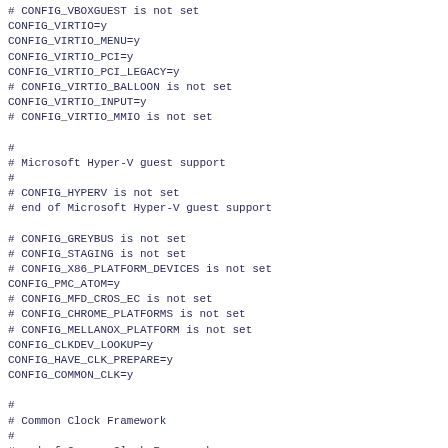# CONFIG_VBOXGUEST is not set
CONFIG_VIRTIO=y
CONFIG_VIRTIO_MENU=y
CONFIG_VIRTIO_PCI=y
CONFIG_VIRTIO_PCI_LEGACY=y
# CONFIG_VIRTIO_BALLOON is not set
CONFIG_VIRTIO_INPUT=y
# CONFIG_VIRTIO_MMIO is not set

#
# Microsoft Hyper-V guest support
#
# CONFIG_HYPERV is not set
# end of Microsoft Hyper-V guest support

# CONFIG_GREYBUS is not set
# CONFIG_STAGING is not set
# CONFIG_X86_PLATFORM_DEVICES is not set
CONFIG_PMC_ATOM=y
# CONFIG_MFD_CROS_EC is not set
# CONFIG_CHROME_PLATFORMS is not set
# CONFIG_MELLANOX_PLATFORM is not set
CONFIG_CLKDEV_LOOKUP=y
CONFIG_HAVE_CLK_PREPARE=y
CONFIG_COMMON_CLK=y

#
# Common Clock Framework
#
# end of Common Clock Framework